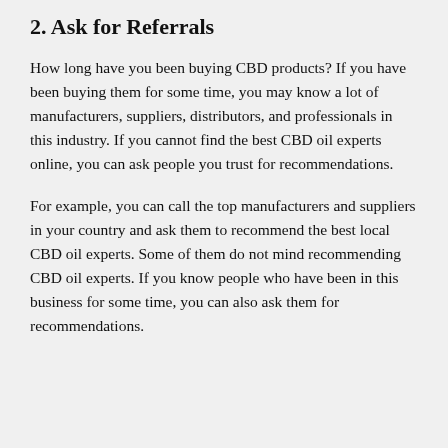2. Ask for Referrals
How long have you been buying CBD products? If you have been buying them for some time, you may know a lot of manufacturers, suppliers, distributors, and professionals in this industry. If you cannot find the best CBD oil experts online, you can ask people you trust for recommendations.
For example, you can call the top manufacturers and suppliers in your country and ask them to recommend the best local CBD oil experts. Some of them do not mind recommending CBD oil experts. If you know people who have been in this business for some time, you can also ask them for recommendations.